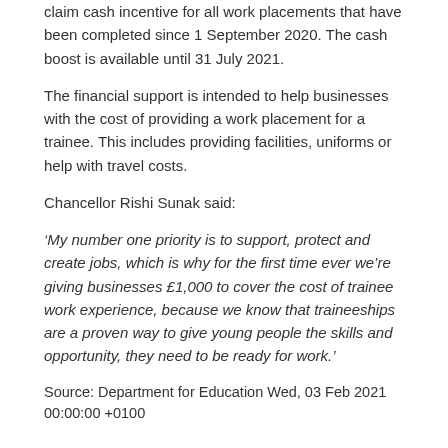claim cash incentive for all work placements that have been completed since 1 September 2020. The cash boost is available until 31 July 2021.
The financial support is intended to help businesses with the cost of providing a work placement for a trainee. This includes providing facilities, uniforms or help with travel costs.
Chancellor Rishi Sunak said:
‘My number one priority is to support, protect and create jobs, which is why for the first time ever we’re giving businesses £1,000 to cover the cost of trainee work experience, because we know that traineeships are a proven way to give young people the skills and opportunity, they need to be ready for work.’
Source: Department for Education Wed, 03 Feb 2021 00:00:00 +0100